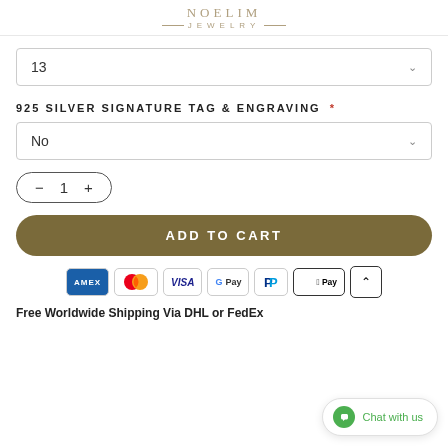JEWELRY
13
925 SILVER SIGNATURE TAG & ENGRAVING *
No
– 1 +
ADD TO CART
[Figure (logo): Payment method logos: AMEX, Mastercard, VISA, Google Pay, PayPal, Apple Pay]
Free Worldwide Shipping Via DHL or FedEx
Chat with us